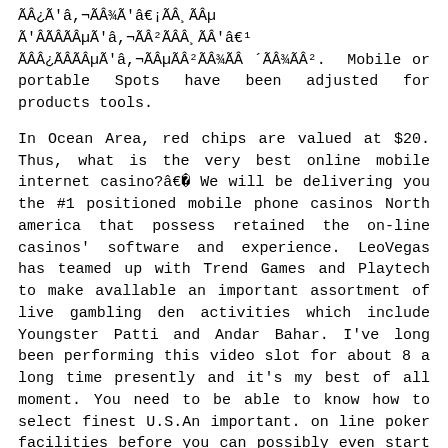ÃÂ¿Ã'â,¬ÃÂ¾Ã'â€¡ÃÂ¸ÃÂµ Ã'ÂÃÂÃÂµÃ'â,¬ÃÂ²ÃÂÂ¸ÃÂ'â€¹ÃÂÂ¿ÃÂÃÂµÃ'â,¬ÃÂµÃÂ²ÃÂ¾ÃÂ ´ÃÂ¾ÃÂ². Mobile or portable Spots have been adjusted for products tools.
In Ocean Area, red chips are valued at $20. Thus, what is the very best online mobile internet casino?â€  We will be delivering you the #1 positioned mobile phone casinos North america that possess retained the on-line casinos' software and experience. LeoVegas has teamed up with Trend Games and Playtech to make avallable an important assortment of live gambling den activities which include Youngster Patti and Andar Bahar. I've long been performing this video slot for about 8 a long time presently and it's my best of all moment. You need to be able to know how to select finest U.S.An important. on line poker facilities before you can possibly even start up performing activities at a serious profit poker store on line North american.
It is a new basic 3-fishing reel slot machine sport that is avallable through the developer's Two times